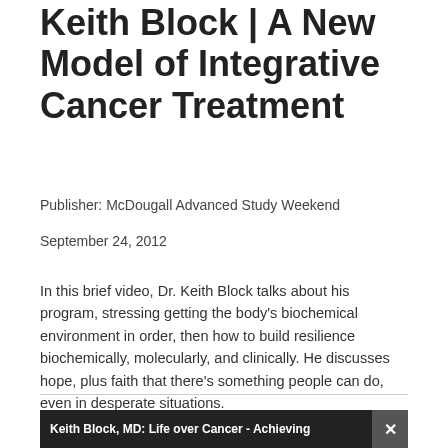Keith Block | A New Model of Integrative Cancer Treatment
Publisher: McDougall Advanced Study Weekend
September 24, 2012
In this brief video, Dr. Keith Block talks about his program, stressing getting the body's biochemical environment in order, then how to build resilience biochemically, molecularly, and clinically. He discusses hope, plus faith that there's something people can do, even in desperate situations.
[Figure (screenshot): Video player thumbnail showing 'Keith Block, MD: Life over Cancer - Achieving' with a dark background and close button (X) on the right.]